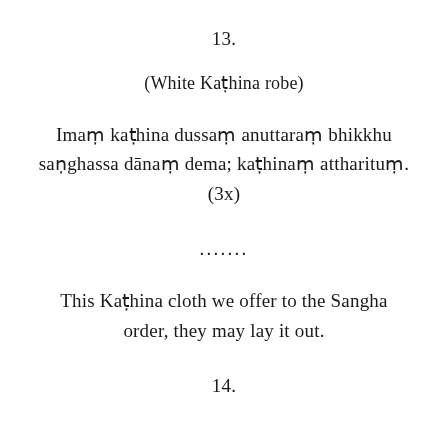13.
(White Kaṭhina robe)
Imaṃ kaṭhina dussaṃ anuttaraṃ bhikkhu saṇghassa dānaṃ dema; kaṭhinaṃ attharituṃ. (3x)
.......
This Kaṭhina cloth we offer to the Sangha order, they may lay it out.
14.